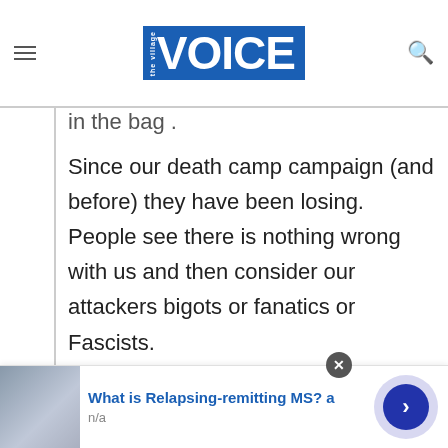the Village VOICE
in the bag .
Since our death camp campaign (and before) they have been losing. People see there is nothing wrong with us and then consider our attackers bigots or fanatics or Fascists.
The recent actual discovery of their Cardiff death camp is just the beginning.
[Figure (screenshot): Advertisement banner: image of person, text 'What is Relapsing-remitting MS? a', 'n/a', with forward arrow button and close button]